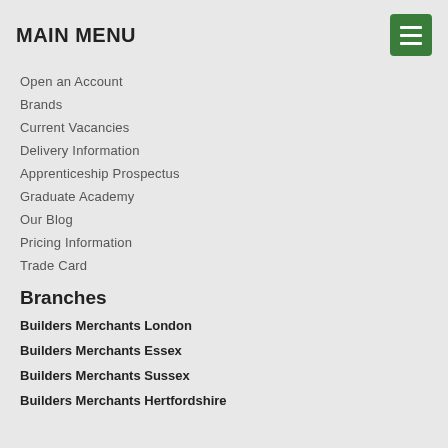MAIN MENU
Open an Account
Brands
Current Vacancies
Delivery Information
Apprenticeship Prospectus
Graduate Academy
Our Blog
Pricing Information
Trade Card
Branches
Builders Merchants London
Builders Merchants Essex
Builders Merchants Sussex
Builders Merchants Hertfordshire